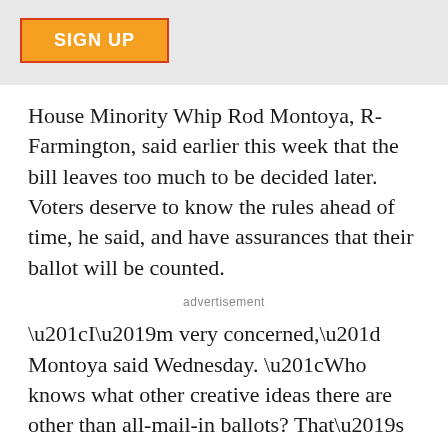[Figure (other): Sign Up button — orange background with red border, white bold uppercase text 'SIGN UP', on a light grey banner background]
House Minority Whip Rod Montoya, R-Farmington, said earlier this week that the bill leaves too much to be decided later. Voters deserve to know the rules ahead of time, he said, and have assurances that their ballot will be counted.
advertisement
“I’m very concerned,” Montoya said Wednesday. “Who knows what other creative ideas there are other than all-mail-in ballots? That’s not the way you do election law.”
Democratic legislators, he said, repeatedly assured